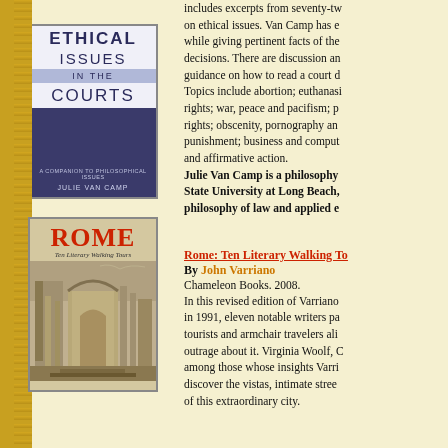[Figure (illustration): Book cover of 'Ethical Issues in the Courts' by Julie Van Camp, showing a blue cover with white text sections]
includes excerpts from seventy-two on ethical issues. Van Camp has e while giving pertinent facts of the decisions. There are discussion an guidance on how to read a court d Topics include abortion; euthanasia rights; war, peace and pacifism; p rights; obscenity, pornography and punishment; business and comput and affirmative action.
Julie Van Camp is a philosophy professor at California State University at Long Beach, where she teaches philosophy of law and applied e
[Figure (illustration): Book cover of 'Rome: Ten Literary Walking Tours' by John Varriano, showing red title text and an engraving of Roman ruins with architecture]
Rome: Ten Literary Walking Tours
By John Varriano
Chameleon Books. 2008.
In this revised edition of Varriano in 1991, eleven notable writers pa tourists and armchair travelers ali outrage about it. Virginia Woolf, C among those whose insights Varri discover the vistas, intimate stree of this extraordinary city.